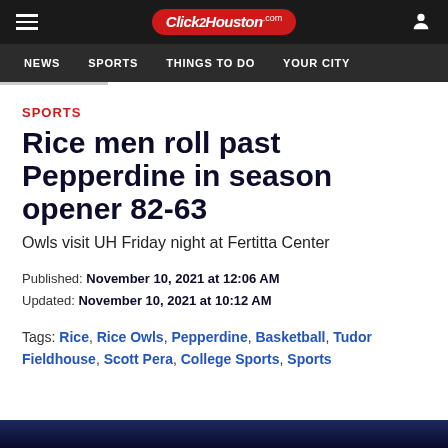Click2Houston.com — NEWS | SPORTS | THINGS TO DO | YOUR CITY
SPORTS
Rice men roll past Pepperdine in season opener 82-63
Owls visit UH Friday night at Fertitta Center
Published: November 10, 2021 at 12:06 AM
Updated: November 10, 2021 at 10:12 AM
Tags: Rice, Rice Owls, Pepperdine, Basketball, Tudor Fieldhouse, Scott Pera, College Sports, Sports